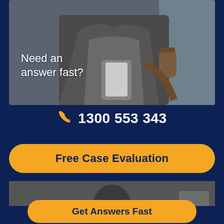[Figure (photo): Person holding a smartphone and coffee cup, walking outdoors. Text overlay reads 'Need an answer fast?']
1300 553 343
Free Case Evaluation
[Figure (photo): Partial photo of a person, bottom portion of page]
Get Answers Fast